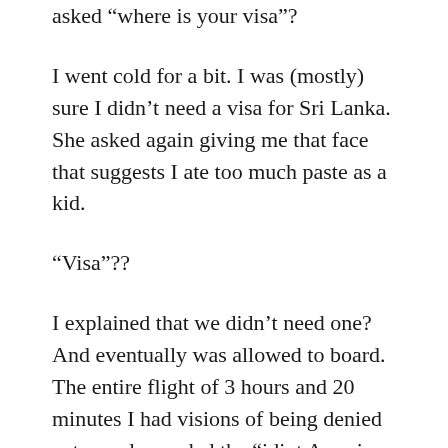asked “where is your visa”?
I went cold for a bit. I was (mostly) sure I didn’t need a visa for Sri Lanka. She asked again giving me that face that suggests I ate too much paste as a kid.
“Visa”??
I explained that we didn’t need one? And eventually was allowed to board. The entire flight of 3 hours and 20 minutes I had visions of being denied entry and awarded the “idiot American of the month” trophy.
Not to worry however. Sri Lanka thinks it loves tourists, and thus the visa, is available on arrival, for 40$ USD, they take major credit cards (didn’t ask about diners